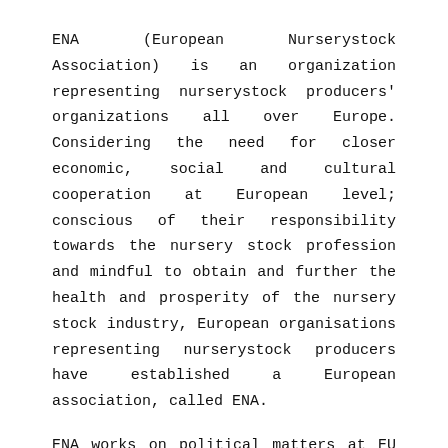ENA (European Nurserystock Association) is an organization representing nurserystock producers' organizations all over Europe. Considering the need for closer economic, social and cultural cooperation at European level; conscious of their responsibility towards the nursery stock profession and mindful to obtain and further the health and prosperity of the nursery stock industry, European organisations representing nurserystock producers have established a European association, called ENA.
ENA works on political matters at EU level, but also deals with technical matters of interest to non EU-members. ENA has addressed many technical issues related to the nursery stock sector and continues to monitoring EU regulations related to